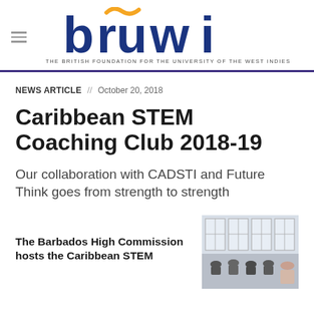[Figure (logo): BFUWI logo — 'bruwi' in large bold blue letters with a yellow tilde above the r, and tagline 'THE BRITISH FOUNDATION FOR THE UNIVERSITY OF THE WEST INDIES']
NEWS ARTICLE  //  October 20, 2018
Caribbean STEM Coaching Club 2018-19
Our collaboration with CADSTI and Future Think goes from strength to strength
The Barbados High Commission hosts the Caribbean STEM
[Figure (photo): Photo of people seated in a room with large windows, appearing to be at a meeting or event]